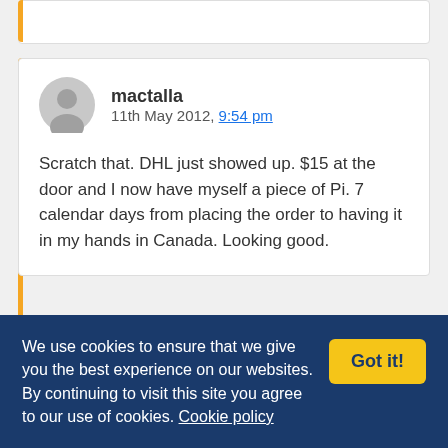[Figure (screenshot): Partial top of a website comment card with orange left border bar]
mactalla
11th May 2012, 9:54 pm

Scratch that. DHL just showed up. $15 at the door and I now have myself a piece of Pi. 7 calendar days from placing the order to having it in my hands in Canada. Looking good.
[Figure (screenshot): Partial bottom of another comment card with orange left border bar and avatar]
We use cookies to ensure that we give you the best experience on our websites. By continuing to visit this site you agree to our use of cookies. Cookie policy